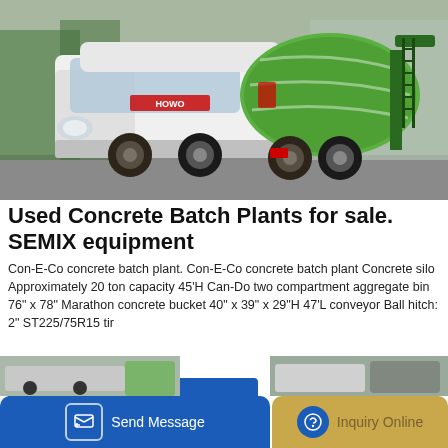[Figure (photo): A white and green HOWO concrete mixer truck parked outdoors, front-left view. The truck has a large green drum/barrel on the back.]
Used Concrete Batch Plants for sale. SEMIX equipment
Con-E-Co concrete batch plant. Con-E-Co concrete batch plant Concrete silo Approximately 20 ton capacity 45'H Can-Do two compartment aggregate bin 76" x 78" Marathon concrete bucket 40" x 39" x 29"H 47'L conveyor Ball hitch: 2" ST225/75R15 tir
GET A QUOTE
Send Message
Inquiry Online